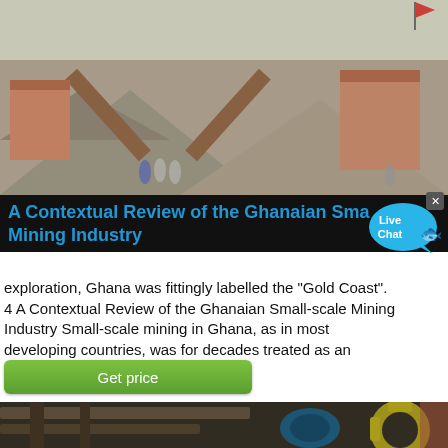[Figure (photo): Mining site with conveyor belts and machinery, piles of gravel, workers in the background]
A Contextual Review of the Ghanaian Small-scale Mining Industry
exploration, Ghana was fittingly labelled the "Gold Coast". 4 A Contextual Review of the Ghanaian Small-scale Mining Industry Small-scale mining in Ghana, as in most developing countries, was for decades treated as an
[Figure (other): Green 'Get price' button]
[Figure (photo): Close-up of mining/industrial machinery with gears and metal framework]